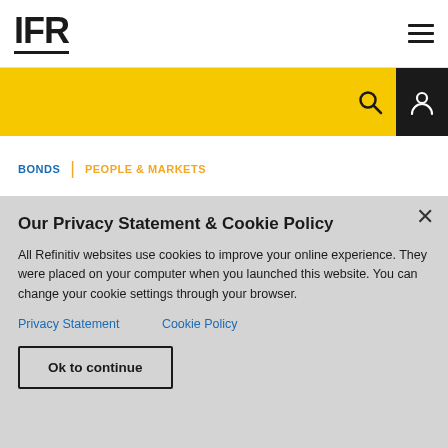IFR
BONDS | PEOPLE & MARKETS
Green bond black hole leaves
Our Privacy Statement & Cookie Policy

All Refinitiv websites use cookies to improve your online experience. They were placed on your computer when you launched this website. You can change your cookie settings through your browser.

Privacy Statement   Cookie Policy

Ok to continue